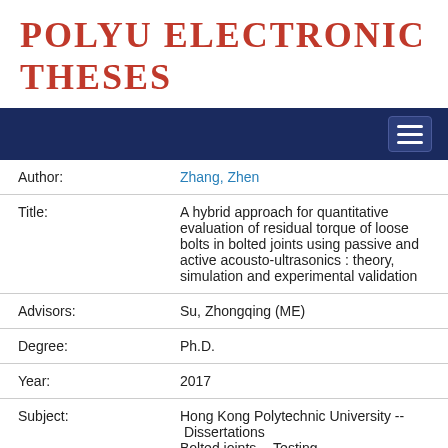POLYU ELECTRONIC THESES
| Field | Value |
| --- | --- |
| Author: | Zhang, Zhen |
| Title: | A hybrid approach for quantitative evaluation of residual torque of loose bolts in bolted joints using passive and active acousto-ultrasonics : theory, simulation and experimental validation |
| Advisors: | Su, Zhongqing (ME) |
| Degree: | Ph.D. |
| Year: | 2017 |
| Subject: | Hong Kong Polytechnic University -- Dissertations
Bolted joints -- Testing
Nondestructive testing |